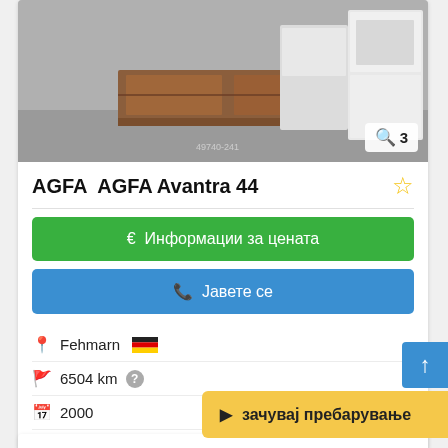[Figure (photo): Product listing photo showing wooden furniture/cabinet and white appliances in a warehouse or storage setting]
AGFA  AGFA Avantra 44
€ Информации за цената
📞 Јавете се
Fehmarn 🇩🇪
6504 km ?
2000
Втора ра...
зачувај пребарување